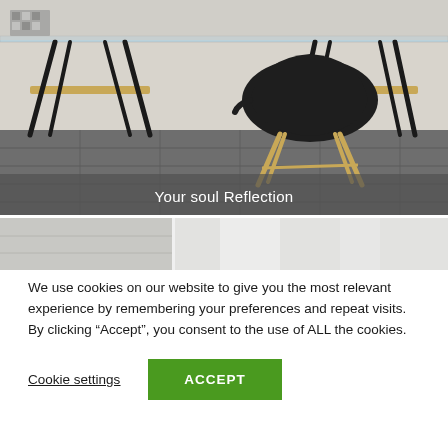[Figure (photo): Interior photo showing a glass-topped desk on black sawhorse legs with wooden accents, and a black molded chair with wooden legs, on a tiled floor against a white wall.]
Your soul Reflection
[Figure (photo): Partial interior photo showing a bright room with white walls and ceiling.]
We use cookies on our website to give you the most relevant experience by remembering your preferences and repeat visits. By clicking “Accept”, you consent to the use of ALL the cookies.
Cookie settings
ACCEPT